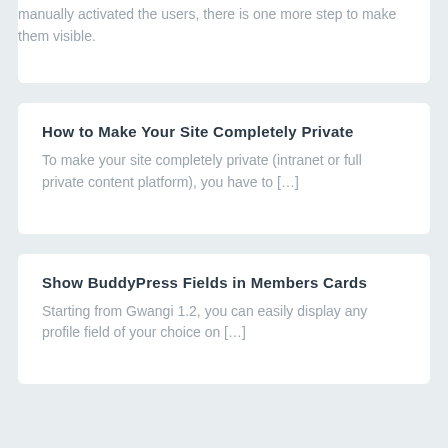manually activated the users, there is one more step to make them visible.
How to Make Your Site Completely Private
To make your site completely private (intranet or full private content platform), you have to […]
Show BuddyPress Fields in Members Cards
Starting from Gwangi 1.2, you can easily display any profile field of your choice on […]